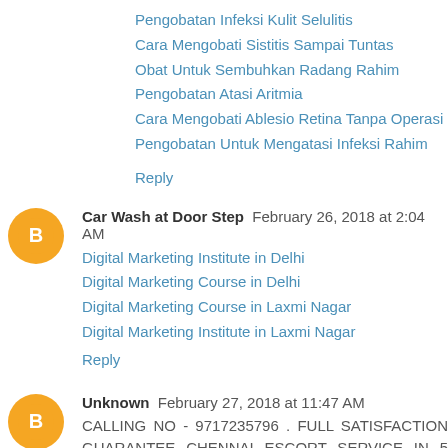Pengobatan Infeksi Kulit Selulitis
Cara Mengobati Sistitis Sampai Tuntas
Obat Untuk Sembuhkan Radang Rahim
Pengobatan Atasi Aritmia
Cara Mengobati Ablesio Retina Tanpa Operasi
Pengobatan Untuk Mengatasi Infeksi Rahim
Reply
Car Wash at Door Step  February 26, 2018 at 2:04 AM
Digital Marketing Institute in Delhi
Digital Marketing Course in Delhi
Digital Marketing Course in Laxmi Nagar
Digital Marketing Institute in Laxmi Nagar
Reply
Unknown  February 27, 2018 at 11:47 AM
CALLING NO - 9717235796 . FULL SATISFACTION GUARANTEE CHENNAI ESCORT SERVICE IN 5 STAR